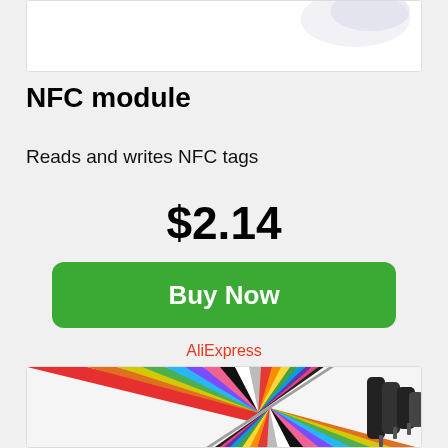[Figure (photo): Partial product image at the top of the card (cropped, mostly white background)]
NFC module
Reads and writes NFC tags
$2.14
Buy Now
AliExpress
[Figure (photo): Rainbow-colored ribbon/jumper wires fanning out, with black connector pins at the right end]